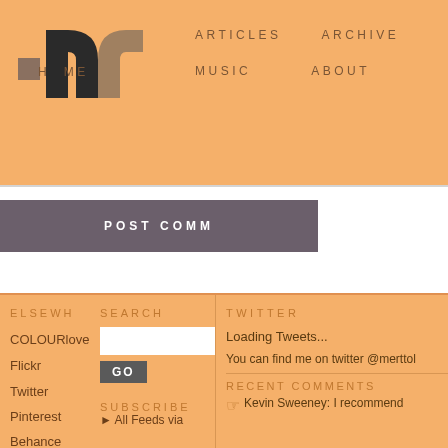[Figure (logo): Stylized letter 'm' logo in dark charcoal and tan/beige colors]
HOME   ARTICLES   ARCHIVE   MUSIC   ABOUT
POST COMM
ELSEWH   SEARCH
COLOURlove
Flickr
Twitter
Pinterest
Behance
TWITTER
Loading Tweets...
You can find me on twitter @merttol
SUBSCRIBE
RECENT COMMENTS
All Feeds via
Kevin Sweeney: I recommend